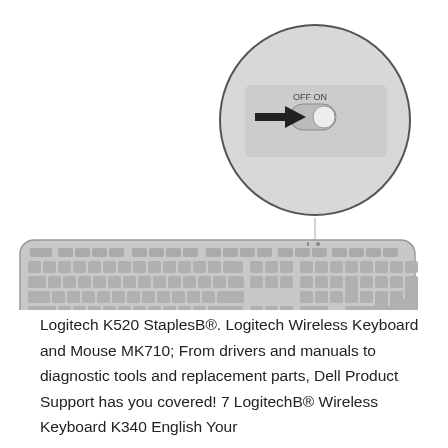[Figure (illustration): Illustration of a Logitech wireless keyboard with a circular zoom inset showing an OFF/ON toggle switch with an arrow pointing to the ON position.]
Logitech K520 StaplesB®. Logitech Wireless Keyboard and Mouse MK710; From drivers and manuals to diagnostic tools and replacement parts, Dell Product Support has you covered! 7 LogitechB® Wireless Keyboard K340 English Your